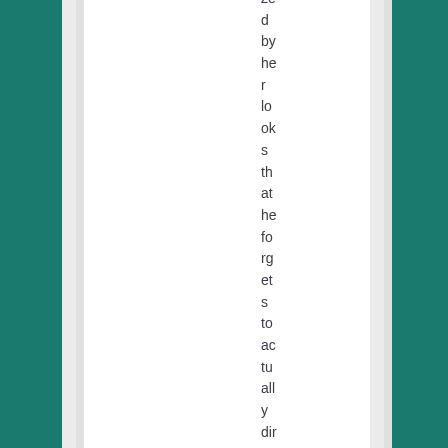zed by her looks that he forgets to actually direc